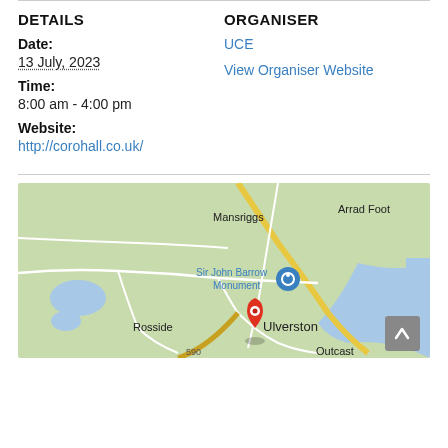DETAILS
Date:
13 July, 2023
Time:
8:00 am - 4:00 pm
Website:
http://corohall.co.uk/
ORGANISER
UCE
View Organiser Website
[Figure (map): Google Maps showing Ulverston area with locations: Mansriggs, Arrad Foot, Sir John Barrow Monument, Rosside, Ulverston, Outcast, River Leven. A red map pin marks Ulverston.]